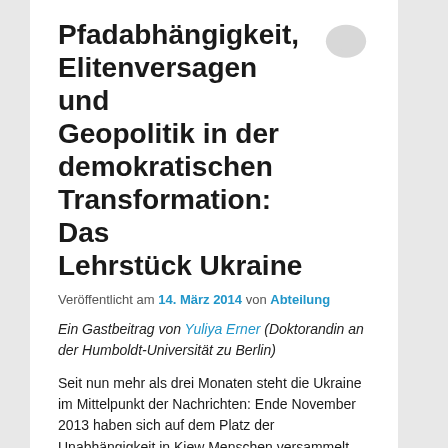Pfadabhängigkeit, Elitenversagen und Geopolitik in der demokratischen Transformation: Das Lehrstück Ukraine
Veröffentlicht am 14. März 2014 von Abteilung
Ein Gastbeitrag von Yuliya Erner (Doktorandin an der Humboldt-Universität zu Berlin)
Seit nun mehr als drei Monaten steht die Ukraine im Mittelpunkt der Nachrichten: Ende November 2013 haben sich auf dem Platz der Unabhängigkeit in Kiew Menschen versammelt, die das politische Regime von Präsident Janukowitsch nicht mehr tolerieren wollten. Den Anlass für die Proteste (bekannt als Euro-Maidan) bot die Absage des damaligen Präsidenten